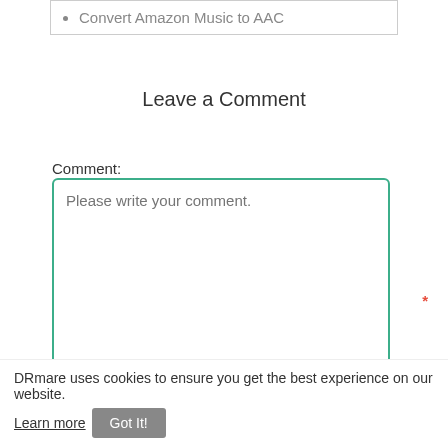Convert Amazon Music to AAC
Leave a Comment
Comment:
Please write your comment.
Name:
DRmare uses cookies to ensure you get the best experience on our website. Learn more  Got It!